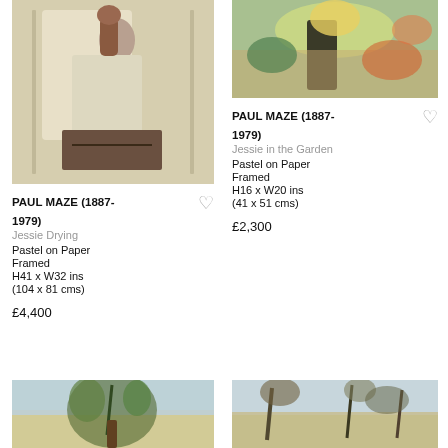[Figure (illustration): Pastel artwork of a figure (Jessie Drying) by Paul Maze, left column top]
PAUL MAZE (1887-1979)
Jessie Drying
Pastel on Paper
Framed
H41 x W32 ins
(104 x 81 cms)
£4,400
[Figure (illustration): Pastel artwork of a figure in garden (Jessie in the Garden) by Paul Maze, right column top]
PAUL MAZE (1887-1979)
Jessie in the Garden
Pastel on Paper
Framed
H16 x W20 ins
(41 x 51 cms)
£2,300
[Figure (illustration): Landscape painting with plants, bottom left]
[Figure (illustration): Landscape painting with trees, bottom right]